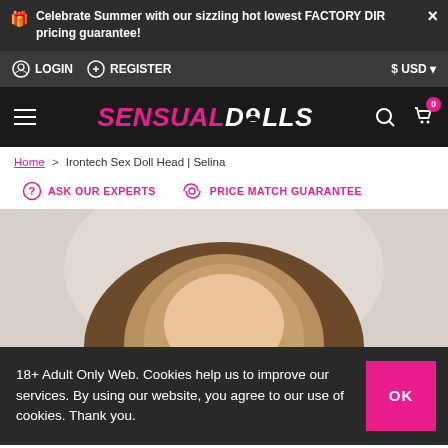Celebrate Summer with our sizzling hot lowest FACTORY DIR pricing guarantee!
LOGIN   REGISTER   $ USD
[Figure (logo): SensualDolls logo with pink SENSUAL and white DOLLS text on dark background]
Home > Irontech Sex Doll Head | Selina
ASK OUR EXPERTS   PRICE MATCH GUARANTEE
[Figure (photo): Irontech sex doll head Selina product photo showing top of doll head with blonde hair]
18+ Adult Only Web. Cookies help us to improve our services. By using our website, you agree to our use of cookies. Thank you.